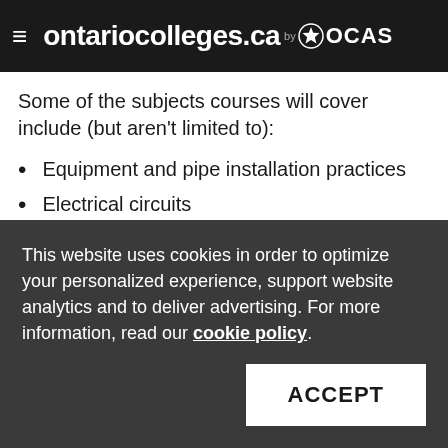ontariocolleges.ca by OCAS
Some of the subjects courses will cover include (but aren't limited to):
Equipment and pipe installation practices
Electrical circuits
This website uses cookies in order to optimize your personalized experience, support website analytics and to deliver advertising. For more information, read our cookie policy.
ACCEPT